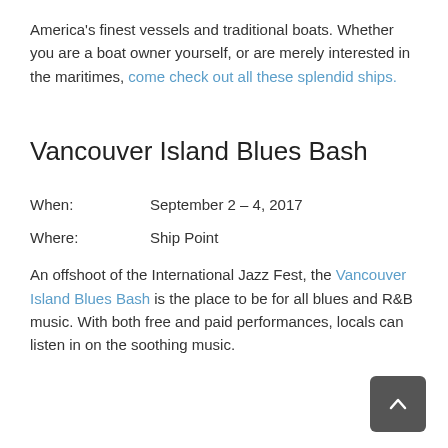America's finest vessels and traditional boats. Whether you are a boat owner yourself, or are merely interested in the maritimes, come check out all these splendid ships.
Vancouver Island Blues Bash
When:    September 2 – 4, 2017
Where:    Ship Point
An offshoot of the International Jazz Fest, the Vancouver Island Blues Bash is the place to be for all blues and R&B music. With both free and paid performances, locals can listen in on the soothing music.